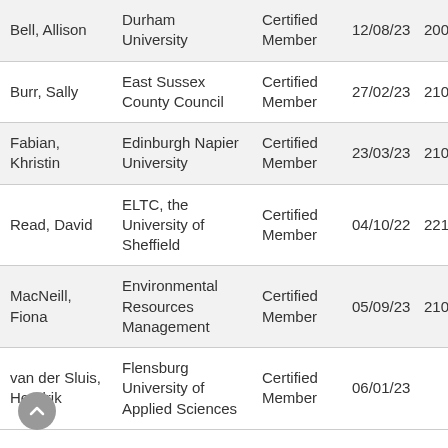| Bell, Allison | Durham University | Certified Member | 12/08/23 | 200385 |
| Burr, Sally | East Sussex County Council | Certified Member | 27/02/23 | 210487 |
| Fabian, Khristin | Edinburgh Napier University | Certified Member | 23/03/23 | 210653 |
| Read, David | ELTC, the University of Sheffield | Certified Member | 04/10/22 | 221345 |
| MacNeill, Fiona | Environmental Resources Management | Certified Member | 05/09/23 | 210979 |
| van der Sluis, Hendrik | Flensburg University of Applied Sciences | Certified Member | 06/01/23 |  |